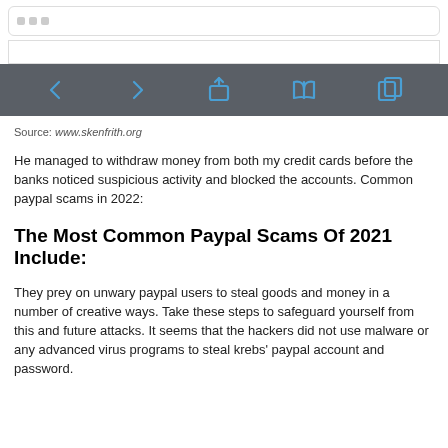[Figure (screenshot): Browser UI top bar with three grey dots and an address bar below it]
[Figure (screenshot): Mobile browser toolbar with dark grey background showing navigation icons: back arrow, forward arrow, share/upload icon, book/reading icon, and copy/tab icon in blue]
Source: www.skenfrith.org
He managed to withdraw money from both my credit cards before the banks noticed suspicious activity and blocked the accounts. Common paypal scams in 2022:
The Most Common Paypal Scams Of 2021 Include:
They prey on unwary paypal users to steal goods and money in a number of creative ways. Take these steps to safeguard yourself from this and future attacks. It seems that the hackers did not use malware or any advanced virus programs to steal krebs' paypal account and password.